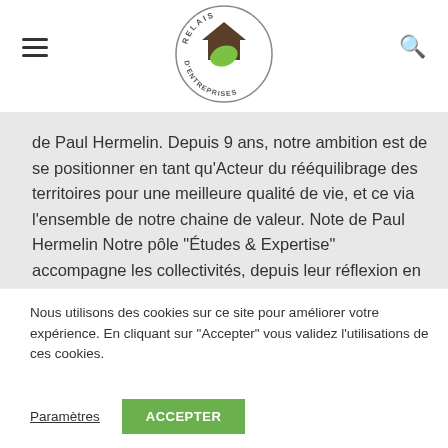[Figure (logo): Circular logo for Relais d'Entreprises with text 'RELAIS D'ENTREPRISES' around the border and a graphic of a house with hands inside]
de Paul Hermelin. Depuis 9 ans, notre ambition est de se positionner en tant qu'Acteur du rééquilibrage des territoires pour une meilleure qualité de vie, et ce via l'ensemble de notre chaine de valeur. Note de Paul Hermelin Notre pôle "Études & Expertise" accompagne les collectivités, depuis leur réflexion en amont…
Nous utilisons des cookies sur ce site pour améliorer votre expérience. En cliquant sur "Accepter" vous validez l'utilisations de ces cookies.
Paramètres
ACCEPTER